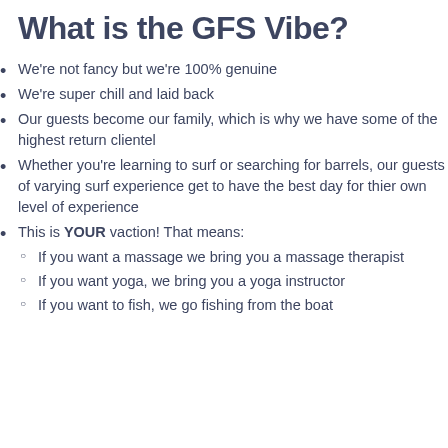What is the GFS Vibe?
We're not fancy but we're 100% genuine
We're super chill and laid back
Our guests become our family, which is why we have some of the highest return clientel
Whether you're learning to surf or searching for barrels, our guests of varying surf experience get to have the best day for thier own level of experience
This is YOUR vaction! That means:
If you want a massage we bring you a massage therapist
If you want yoga, we bring you a yoga instructor
If you want to fish, we go fishing from the boat